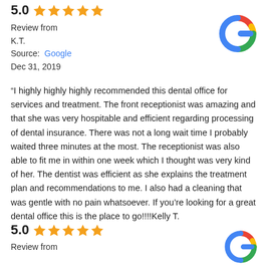[Figure (logo): Google 'G' logo in red, yellow, green, blue colors, top right of first review]
5.0 ★★★★★
Review from
K.T.
Source: Google
Dec 31, 2019
“I highly highly highly recommended this dental office for services and treatment. The front receptionist was amazing and that she was very hospitable and efficient regarding processing of dental insurance. There was not a long wait time I probably waited three minutes at the most. The receptionist was also able to fit me in within one week which I thought was very kind of her. The dentist was efficient as she explains the treatment plan and recommendations to me. I also had a cleaning that was gentle with no pain whatsoever. If you’re looking for a great dental office this is the place to go!!!!Kelly T.
”
[Figure (logo): Google 'G' logo in red, yellow, green, blue colors, bottom right of second review]
5.0 ★★★★★
Review from